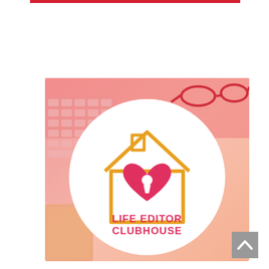[Figure (logo): Life Editor Clubhouse logo: a house outline in orange/gold containing a red heart with a keyhole, with text 'LIFE EDITOR CLUBHOUSE' in pink/red below, all on a white circle, set against a pink desktop background with a keyboard and glasses]
[Figure (illustration): Scroll-to-top button: grey square with upward chevron arrow]